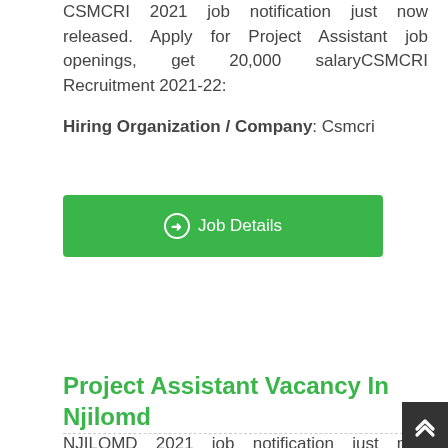CSMCRI 2021 job notification just now released. Apply for Project Assistant job openings, get 20,000 salaryCSMCRI Recruitment 2021-22:
Hiring Organization / Company: Csmcri
[Figure (other): Green button labeled 'Job Details' with a circled arrow icon]
Project Assistant Vacancy In Njilomd
NJILOMD 2021 job notification just now released. Apply for Project Assistant Job Openings, Get 31,000 SalaryNJILOMD